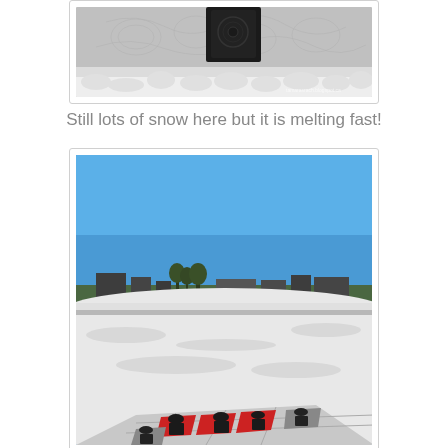[Figure (photo): Close-up photo of a grey quilted fabric with decorative stitching patterns and a dark black element, displayed on a white fluffy surface. Watermark text visible at bottom right.]
Still lots of snow here but it is melting fast!
[Figure (photo): Outdoor winter photo showing a snowy field under a clear blue sky with buildings and trees in the background. In the foreground, a quilt featuring hockey jersey designs in red, black, and grey is laid out on the snow.]